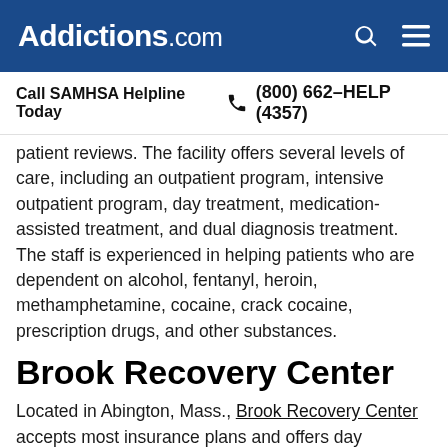Addictions.com
Call SAMHSA Helpline Today  (800) 662-HELP (4357)
patient reviews. The facility offers several levels of care, including an outpatient program, intensive outpatient program, day treatment, medication-assisted treatment, and dual diagnosis treatment. The staff is experienced in helping patients who are dependent on alcohol, fentanyl, heroin, methamphetamine, cocaine, crack cocaine, prescription drugs, and other substances.
Brook Recovery Center
Located in Abington, Mass., Brook Recovery Center accepts most insurance plans and offers day treatment, intensive outpatient treatment, and